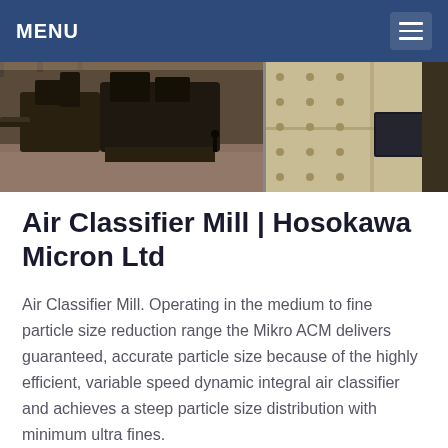MENU
[Figure (photo): Two industrial milling/crushing machines in a large warehouse facility. Left image shows heavy machinery on a dusty floor; right image shows a close-up of a beige/cream colored industrial machine casing with bolts.]
Air Classifier Mill | Hosokawa Micron Ltd
Air Classifier Mill. Operating in the medium to fine particle size reduction range the Mikro ACM delivers guaranteed, accurate particle size because of the highly efficient, variable speed dynamic integral air classifier and achieves a steep particle size distribution with minimum ultra fines.